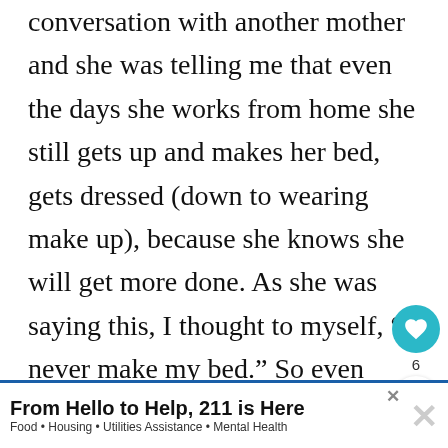conversation with another mother and she was telling me that even the days she works from home she still gets up and makes her bed, gets dressed (down to wearing make up), because she knows she will get more done. As she was saying this, I thought to myself, “I never make my bed.” So even though it is something small, I started making my be[d] husband and I both commented on
[Figure (infographic): Heart/like button (teal circle with heart icon) with count 6, and a share button below it]
[Figure (infographic): WHAT'S NEXT panel showing thumbnail image and text 'Am I doing this MOM...']
[Figure (infographic): Advertisement banner: 'From Hello to Help, 211 is Here' with subtitle 'Food · Housing · Utilities Assistance · Mental Health']